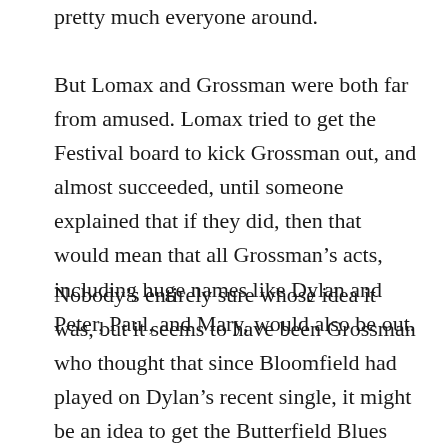pretty much everyone around.
But Lomax and Grossman were both far from amused. Lomax tried to get the Festival board to kick Grossman out, and almost succeeded, until someone explained that if they did, then that would mean that all Grossman’s acts, including huge names like Dylan and Peter, Paul, and Mary, would also be out.
Nobody’s entirely sure whose idea it was, but it seems to have been Grossman who thought that since Bloomfield had played on Dylan’s recent single, it might be an idea to get the Butterfield Blues Band to back Dylan on stage, as a snub to Lomax. But the idea seems to have cohered properly when Grossman bumped into Al Kooper, who was attending the festival